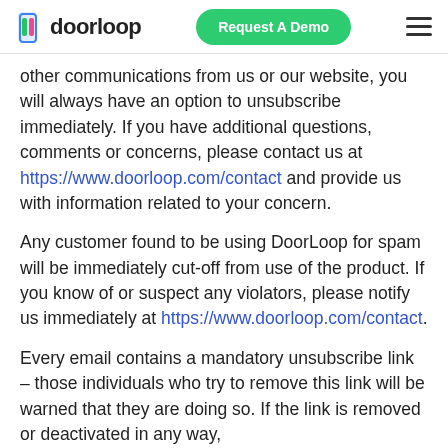doorloop — Request A Demo
other communications from us or our website, you will always have an option to unsubscribe immediately. If you have additional questions, comments or concerns, please contact us at https://www.doorloop.com/contact and provide us with information related to your concern.
Any customer found to be using DoorLoop for spam will be immediately cut-off from use of the product. If you know of or suspect any violators, please notify us immediately at https://www.doorloop.com/contact.
Every email contains a mandatory unsubscribe link – those individuals who try to remove this link will be warned that they are doing so. If the link is removed or deactivated in any way,